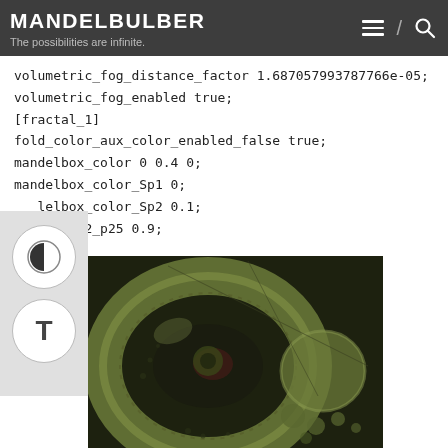MANDELBULBER
The possibilities are infinite.
volumetric_fog_distance_factor 1.687057993787766e-05;
volumetric_fog_enabled true;
[fractal_1]
fold_color_aux_color_enabled_false true;
mandelbox_color 0 0.4 0;
mandelbox_color_Sp1 0;
delbox_color_Sp2 0.1;
f_minR2_p25 0.9;
[Figure (photo): A 3D rendered fractal image (Mandelbulb/Mandelbox style) showing green-tinted spherical and toroidal fractal shapes on a dark background with intricate geometric patterns.]